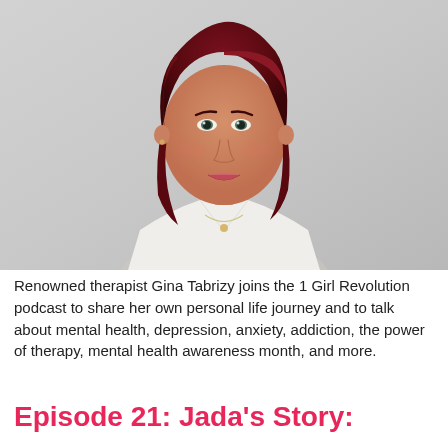[Figure (photo): Portrait photo of a woman with dark red shoulder-length hair, smiling, wearing a white sleeveless top and a delicate necklace, against a light grey background.]
Renowned therapist Gina Tabrizy joins the 1 Girl Revolution podcast to share her own personal life journey and to talk about mental health, depression, anxiety, addiction, the power of therapy, mental health awareness month, and more.
Episode 21: Jada's Story: